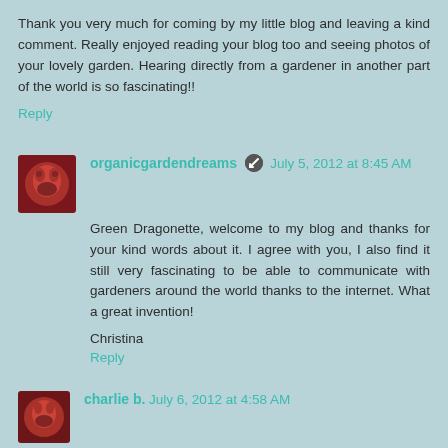Thank you very much for coming by my little blog and leaving a kind comment. Really enjoyed reading your blog too and seeing photos of your lovely garden. Hearing directly from a gardener in another part of the world is so fascinating!!
Reply
organicgardendreams  July 5, 2012 at 8:45 AM
Green Dragonette, welcome to my blog and thanks for your kind words about it. I agree with you, I also find it still very fascinating to be able to communicate with gardeners around the world thanks to the internet. What a great invention!
Christina
Reply
charlie b.  July 6, 2012 at 4:58 AM